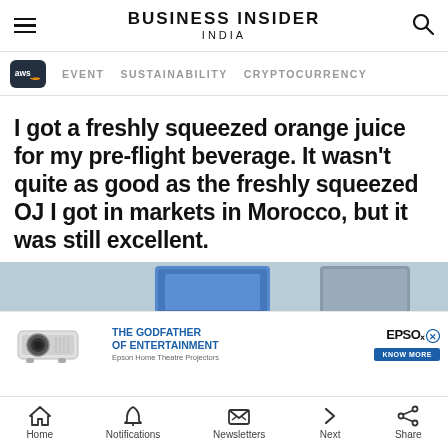BUSINESS INSIDER INDIA
EVENT   SUSTAINABILITY   CRYPTOCURRENCY
I got a freshly squeezed orange juice for my pre-flight beverage. It wasn't quite as good as the freshly squeezed OJ I got in markets in Morocco, but it was still excellent.
[Figure (photo): Airplane interior cabin screen and seats, with Epson Home Theatre Projectors advertisement overlay showing projector device, text 'THE GODFATHER OF ENTERTAINMENT Epson Home Theatre Projectors KNOW MORE' and Epson logo]
Home   Notifications   Newsletters   Next   Share